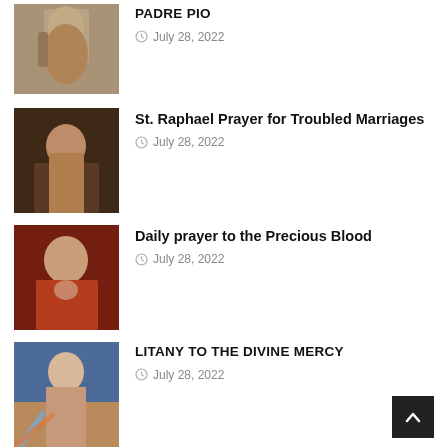PADRE PIO
July 28, 2022
[Figure (photo): Photo related to Padre Pio article]
St. Raphael Prayer for Troubled Marriages
July 28, 2022
[Figure (photo): Photo of a woman looking sad, holding a candle]
Daily prayer to the Precious Blood
July 28, 2022
[Figure (photo): Painting of Jesus with Sacred Heart]
LITANY TO THE DIVINE MERCY
July 28, 2022
[Figure (photo): Image of Divine Mercy — Jesus with rays of light]